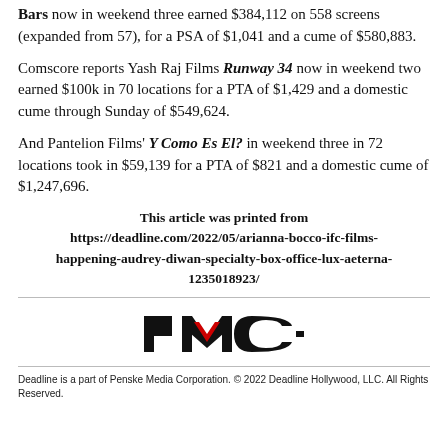Bars now in weekend three earned $384,112 on 558 screens (expanded from 57), for a PSA of $1,041 and a cume of $580,883.
Comscore reports Yash Raj Films Runway 34 now in weekend two earned $100k in 70 locations for a PTA of $1,429 and a domestic cume through Sunday of $549,624.
And Pantelion Films' Y Como Es El? in weekend three in 72 locations took in $59,139 for a PTA of $821 and a domestic cume of $1,247,696.
This article was printed from https://deadline.com/2022/05/arianna-bocco-ifc-films-happening-audrey-diwan-specialty-box-office-lux-aeterna-1235018923/
[Figure (logo): PMC (Penske Media Corporation) logo in black and red]
Deadline is a part of Penske Media Corporation. © 2022 Deadline Hollywood, LLC. All Rights Reserved.